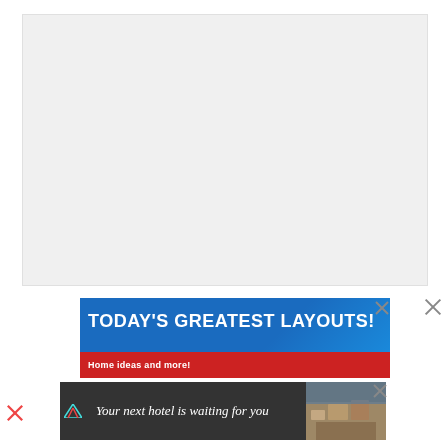[Figure (other): Large blank/white image placeholder area with light gray background]
[Figure (infographic): Advertisement banner with blue background reading TODAY'S GREATEST LAYOUTS! with red sub-banner below]
[Figure (infographic): Advertisement banner reading 'Your next hotel is waiting for you' with dark background and hotel image on the right]